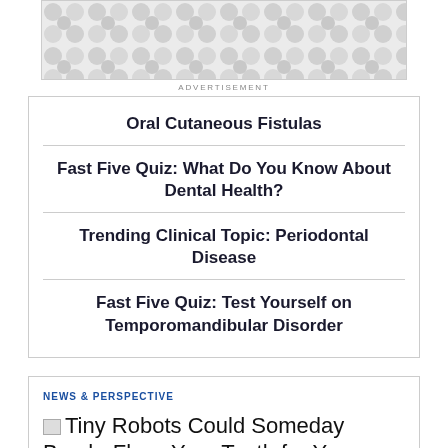[Figure (illustration): Advertisement banner with decorative circular pattern in gray tones]
ADVERTISEMENT
Oral Cutaneous Fistulas
Fast Five Quiz: What Do You Know About Dental Health?
Trending Clinical Topic: Periodontal Disease
Fast Five Quiz: Test Yourself on Temporomandibular Disorder
NEWS & PERSPECTIVE
Tiny Robots Could Someday Brush, Floss Your Teeth for You